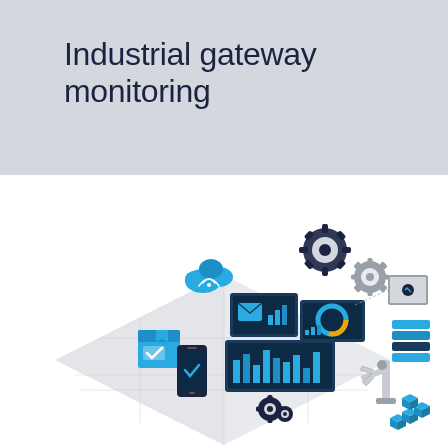Industrial gateway monitoring
Jump to the topic of your choice
[Figure (illustration): Isometric illustration of industrial IoT gateway monitoring components including cloud connectivity, gear/cog systems, digital dashboards/screens, mobile device, delivery box, data server stacks, robotic arm, and modular blue cube elements arranged on a light diamond-shaped platform.]